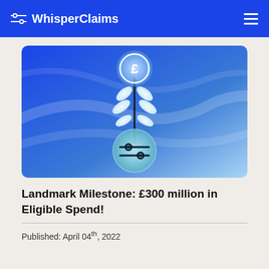WhisperClaims
[Figure (illustration): A decorative illustration on a blue gradient background showing a plant stem with white leaves growing upward toward a glowing blue circle containing a white pound sterling (£) symbol, and at the base a teal circle with a slider/settings icon in dark blue.]
Landmark Milestone: £300 million in Eligible Spend!
Published: April 04th, 2022